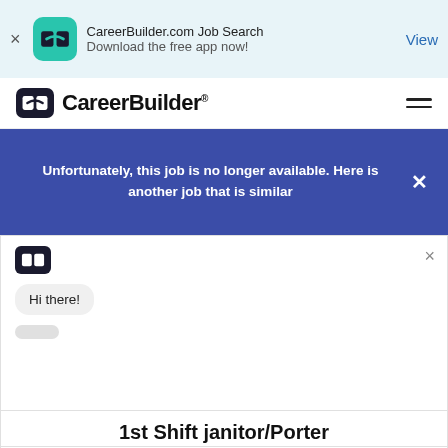[Figure (screenshot): CareerBuilder app banner with CB logo icon, text 'CareerBuilder.com Job Search / Download the free app now!', and a 'View' link. Has an X close button on the left.]
[Figure (logo): CareerBuilder navigation bar with CB logo and hamburger menu icon]
Unfortunately, this job is no longer available. Here is another job that is similar
[Figure (screenshot): Chat popup with CB icon, 'Hi there!' chat bubble, and typing indicator dots. Has an X close button.]
1st Shift janitor/Porter
Manpower | Gardena, CA | Full-Time
$16.04/Hour